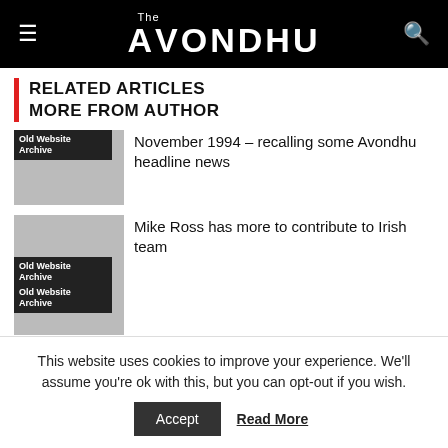The Avondhu
RELATED ARTICLES
MORE FROM AUTHOR
Old Website Archive
November 1994 – recalling some Avondhu headline news
Old Website Archive
Mike Ross has more to contribute to Irish team
Old Website Archive
This website uses cookies to improve your experience. We'll assume you're ok with this, but you can opt-out if you wish.
Accept
Read More